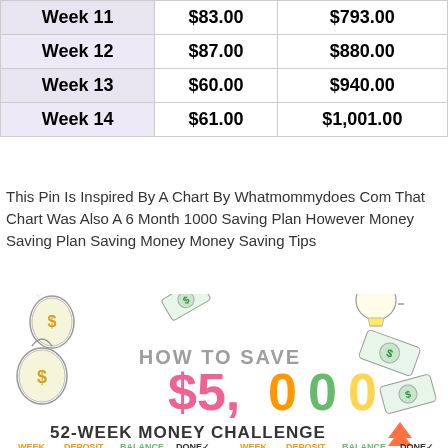| Week | Deposit | Balance |
| --- | --- | --- |
| Week 11 | $83.00 | $793.00 |
| Week 12 | $87.00 | $880.00 |
| Week 13 | $60.00 | $940.00 |
| Week 14 | $61.00 | $1,001.00 |
This Pin Is Inspired By A Chart By Whatmommydoes Com That Chart Was Also A 6 Month 1000 Saving Plan However Money Saving Plan Saving Money Money Saving Tips
[Figure (infographic): How To Save $5,000 — 52-Week Money Challenge infographic with money bag and lightbulb illustrations. Shows colorful title text and column headers: WEEK DEPOSIT BALANCE DONE checkmark repeated.]